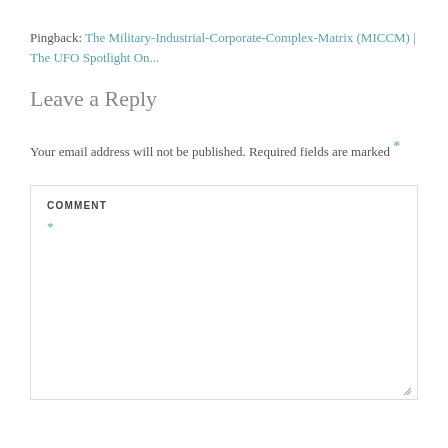Pingback: The Military-Industrial-Corporate-Complex-Matrix (MICCM) | The UFO Spotlight On...
Leave a Reply
Your email address will not be published. Required fields are marked *
COMMENT
*